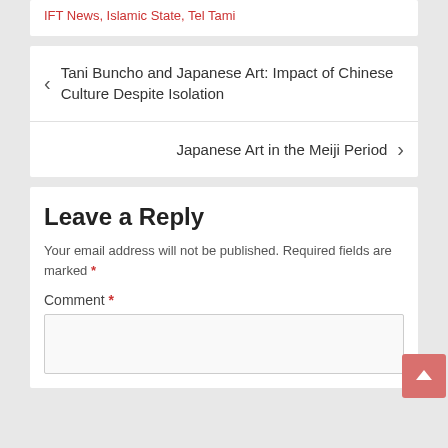IFT News, Islamic State, Tel Tami
Tani Buncho and Japanese Art: Impact of Chinese Culture Despite Isolation
Japanese Art in the Meiji Period
Leave a Reply
Your email address will not be published. Required fields are marked *
Comment *